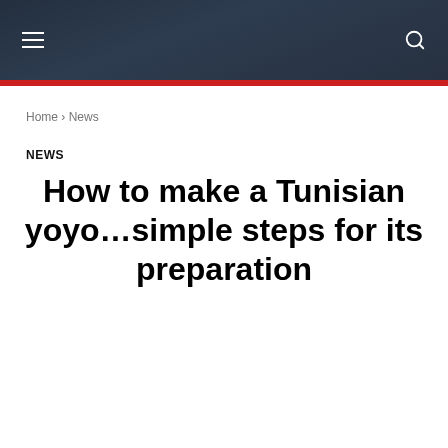☰  [navigation header with search icon]
Home › News
NEWS
How to make a Tunisian yoyo…simple steps for its preparation